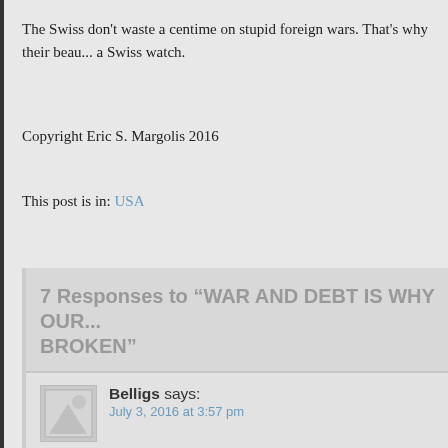The Swiss don't waste a centime on stupid foreign wars. That's why their beau... a Swiss watch.
Copyright Eric S. Margolis 2016
This post is in: USA
7 Responses to “WAR AND DEBT IS WHY OUR...BROKEN”
Belligs says:
July 3, 2016 at 3:57 pm
I agree and wish the current US Dictatorship will change and USA will be c... Country...
Log in to Reply
Cicero says:
June 18, 2016 at 6:12 pm
Foryears the Americans were looking for a tiger. Then GWB came to power... was going to use the word ‘elected’. He mounted that tiger with a lot of bra... severely. Then he let Obama take his place, who instead of trying to pacif...